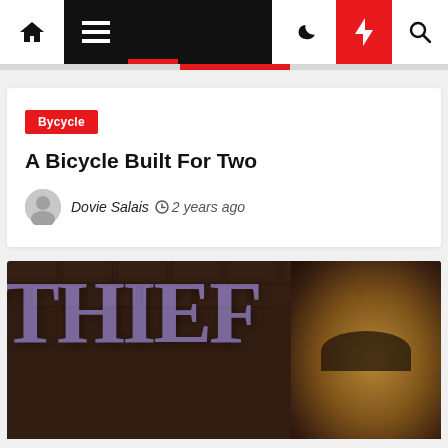Navigation bar with home, menu, moon, flash, search icons
Bycycle
A Bicycle Built For Two
Dovie Salais  2 years ago
[Figure (photo): Book or movie cover image showing the word THIEF in large purple letters against a dark brown background, with a figure wearing a hat in the right portion]